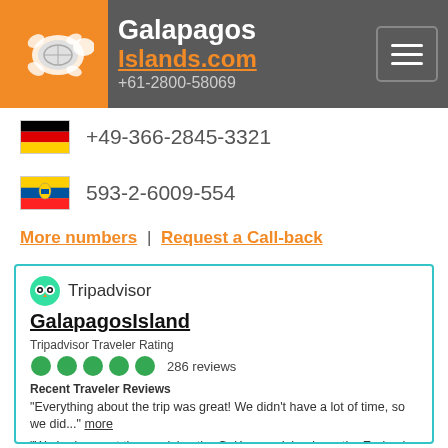Galapagos Islands.com | +61-2800-58069
+49-366-2845-3321
593-2-6009-554
More numbers | Request a Call-back
[Figure (screenshot): Tripadvisor widget showing GalapagosIsland with 5-circle rating, 286 reviews, and 3 recent traveler review excerpts plus Read reviews link]